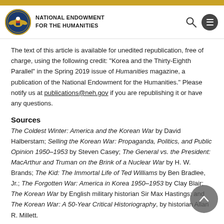NATIONAL ENDOWMENT FOR THE HUMANITIES
The text of this article is available for unedited republication, free of charge, using the following credit: “Korea and the Thirty-Eighth Parallel” in the Spring 2019 issue of Humanities magazine, a publication of the National Endowment for the Humanities.” Please notify us at publications@neh.gov if you are republishing it or have any questions.
Sources
The Coldest Winter: America and the Korean War by David Halberstam; Selling the Korean War: Propaganda, Politics, and Public Opinion 1950–1953 by Steven Casey; The General vs. the President: MacArthur and Truman on the Brink of a Nuclear War by H. W. Brands; The Kid: The Immortal Life of Ted Williams by Ben Bradlee, Jr.; The Forgotten War: America in Korea 1950–1953 by Clay Blair; The Korean War by English military historian Sir Max Hastings; and The Korean War: A 50-Year Critical Historiography, by historian Allan R. Millett.